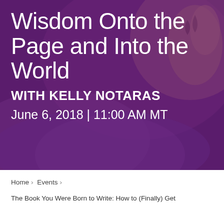[Figure (photo): Purple/magenta toned blurred background photo with a tattooed hand visible in the upper right, overlaid with a dark purple translucent overlay]
Wisdom Onto the Page and Into the World
WITH KELLY NOTARAS
June 6, 2018 | 11:00 AM MT
Home › Events ›
The Book You Were Born to Write: How to (Finally) Get